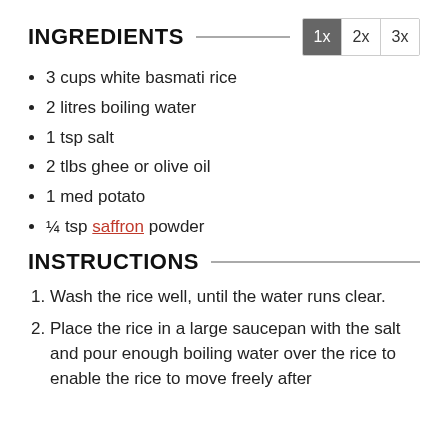INGREDIENTS
3 cups white basmati rice
2 litres boiling water
1 tsp salt
2 tlbs ghee or olive oil
1 med potato
¼ tsp saffron powder
INSTRUCTIONS
Wash the rice well, until the water runs clear.
Place the rice in a large saucepan with the salt and pour enough boiling water over the rice to enable the rice to move freely after